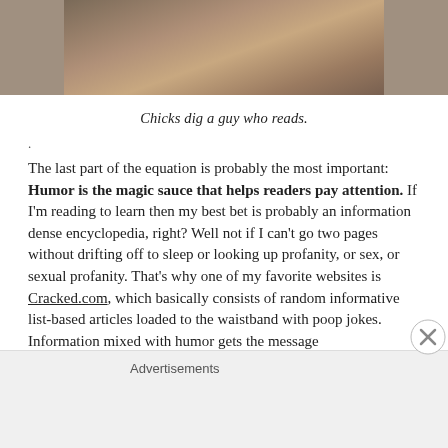[Figure (photo): Cropped photo of a person in a plaid shirt, only lower portion visible]
Chicks dig a guy who reads.
.
The last part of the equation is probably the most important: Humor is the magic sauce that helps readers pay attention. If I'm reading to learn then my best bet is probably an information dense encyclopedia, right? Well not if I can't go two pages without drifting off to sleep or looking up profanity, or sex, or sexual profanity. That's why one of my favorite websites is Cracked.com, which basically consists of random informative list-based articles loaded to the waistband with poop jokes. Information mixed with humor gets the message
Advertisements